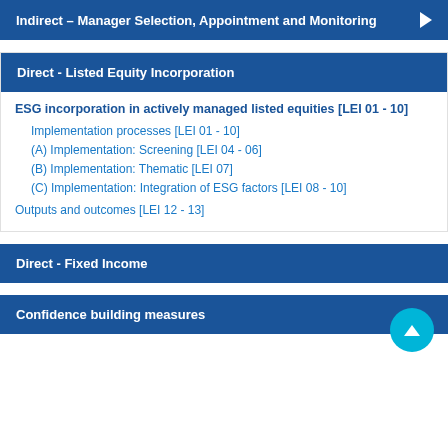Indirect – Manager Selection, Appointment and Monitoring
Direct - Listed Equity Incorporation
ESG incorporation in actively managed listed equities [LEI 01 - 10]
Implementation processes [LEI 01 - 10]
(A) Implementation: Screening [LEI 04 - 06]
(B) Implementation: Thematic [LEI 07]
(C) Implementation: Integration of ESG factors [LEI 08 - 10]
Outputs and outcomes [LEI 12 - 13]
Direct - Fixed Income
Confidence building measures